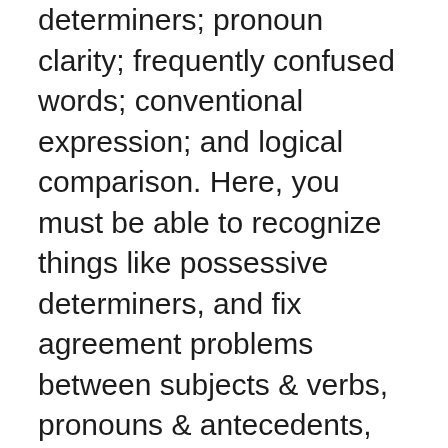determiners; pronoun clarity; frequently confused words; conventional expression; and logical comparison. Here, you must be able to recognize things like possessive determiners, and fix agreement problems between subjects & verbs, pronouns & antecedents, etc.
Language Conventions-Punctuality – In this section, there are 7 separate categories: end-sentence punctuation; in-sentence punctuation; possessive pronouns and nouns; Items within a series; hyphenation conventions; parenthetical & nonrestrictive elements; and unnecessary punctuation issues. You are asked to adjust inappropriate punctuation; identify when hyphens must be used; identify where possessive nouns &